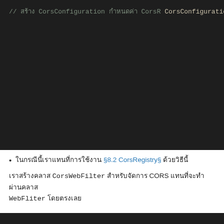[Figure (screenshot): Dark-themed code editor screenshot showing Java/Spring CORS configuration code with syntax highlighting. Code includes CorsConfiguration setup with setAllowedOrigins, setAllowCredentials, addAllowedMethod, setAllowedHeaders, setMaxAge, registerCorsConfiguration, and return new CorsWebFilter statements.]
ในกรณีนี้เราแทนที่การใช้ §8.2 CorsRegistry§ ด้วยวิธีนี้
เราสร้างคลาส CorsWebFilter สำหรับจัดการ CORS แทนที่จะทำผ่านคลาส WebFliter โดยตรงเลย